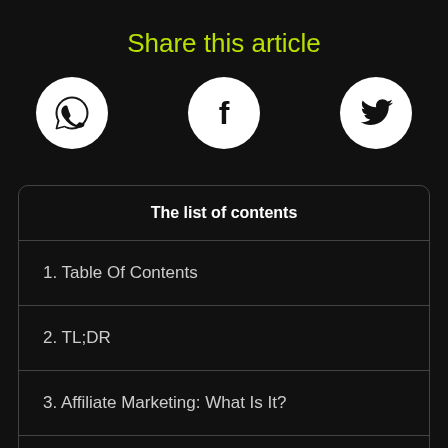Share this article
[Figure (infographic): Three social media share icons (WhatsApp, Facebook, Twitter) displayed as white circles on dark background]
The list of contents
1. Table Of Contents
2. TL;DR
3. Affiliate Marketing: What Is It?
4. What Are The Benefits Of Content In